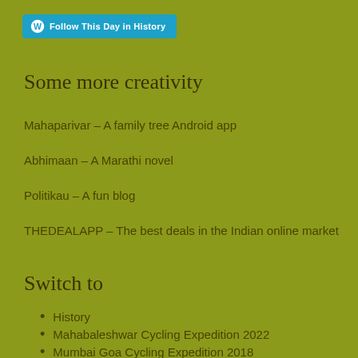[Figure (other): WordPress Follow button: 'Follow This Day in History' with WordPress logo icon on cyan/teal rounded rectangle button]
Some more creativity
Mahaparivar – A family tree Android app
Abhimaan – A Marathi novel
Politikau – A fun blog
THEDEALAPP – The best deals in the Indian online market
Switch to
History
Mahabaleshwar Cycling Expedition 2022
Mumbai Goa Cycling Expedition 2018